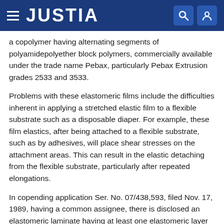JUSTIA
a copolymer having alternating segments of polyamidepolyether block polymers, commercially available under the trade name Pebax, particularly Pebax Extrusion grades 2533 and 3533.
Problems with these elastomeric films include the difficulties inherent in applying a stretched elastic film to a flexible substrate such as a disposable diaper. For example, these film elastics, after being attached to a flexible substrate, such as by adhesives, will place shear stresses on the attachment areas. This can result in the elastic detaching from the flexible substrate, particularly after repeated elongations.
In copending application Ser. No. 07/438,593, filed Nov. 17, 1989, having a common assignee, there is disclosed an elastomeric laminate having at least one elastomeric layer and at least one skin layer which addresses some